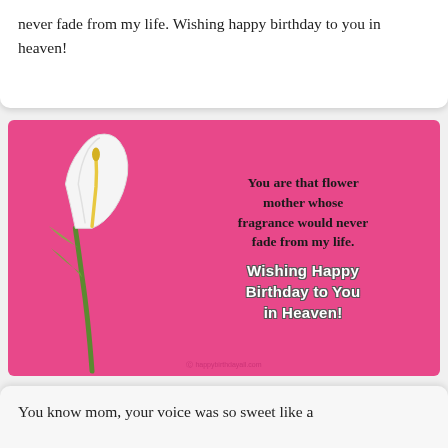never fade from my life. Wishing happy birthday to you in heaven!
[Figure (illustration): Pink greeting card with a white calla lily on the left and bold text reading: 'You are that flower mother whose fragrance would never fade from my life. Wishing Happy Birthday to You in Heaven!' with watermark happybirthdayall.com]
You know mom, your voice was so sweet like a